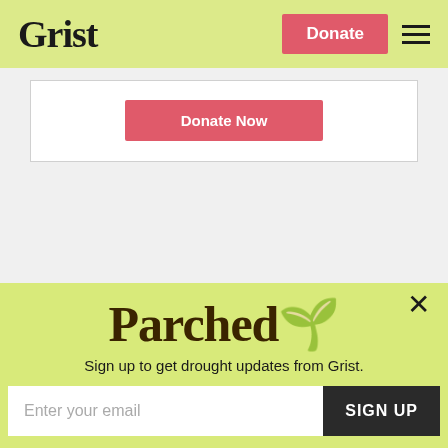Grist — Donate — Menu
[Figure (screenshot): White card area with a pink 'Donate Now' button centered inside a white bordered rectangle on a light gray background]
Next Article
Meryl Streep more of a food activist than Julia
[Figure (infographic): Parched newsletter signup popup with logo, subtitle 'Sign up to get drought updates from Grist.', email input field, SIGN UP button, and 'No thanks' link]